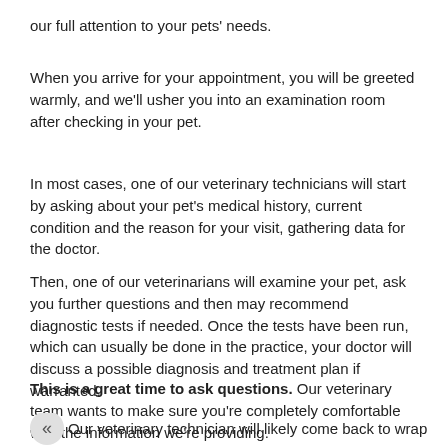our full attention to your pets' needs.
When you arrive for your appointment, you will be greeted warmly, and we'll usher you into an examination room after checking in your pet.
In most cases, one of our veterinary technicians will start by asking about your pet's medical history, current condition and the reason for your visit, gathering data for the doctor.
Then, one of our veterinarians will examine your pet, ask you further questions and then may recommend diagnostic tests if needed. Once the tests have been run, which can usually be done in the practice, your doctor will discuss a possible diagnosis and treatment plan if warranted.
This is a great time to ask questions. Our veterinary team wants to make sure you're completely comfortable with the information we're providing.
Our veterinary technician will likely come back to wrap things up and will provide you with helpful pet care information and answer wellness and care questions for you. Our front desk staff will process